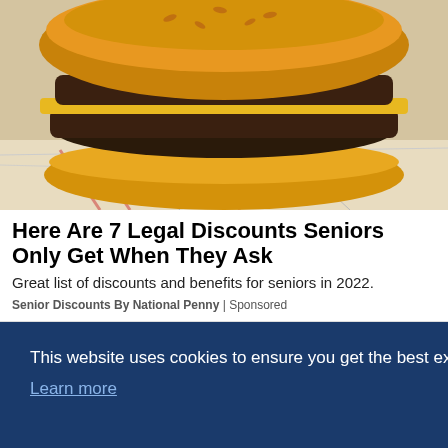[Figure (photo): Close-up photo of a double cheeseburger with melted cheese, pickles, and condiments on white paper wrapping]
Here Are 7 Legal Discounts Seniors Only Get When They Ask
Great list of discounts and benefits for seniors in 2022.
Senior Discounts By National Penny | Sponsored
[Figure (screenshot): Website screenshot showing a cookie consent overlay with dark blue background on top of page content. Text reads: 'This website uses cookies to ensure you get the best experience on our website. Learn more' with a 'Got it!' button at the bottom.]